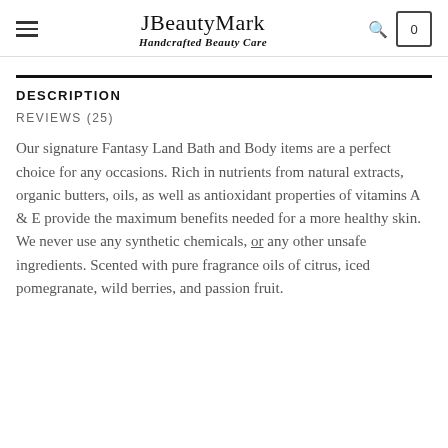JBeautyMark
Handcrafted Beauty Care
DESCRIPTION
REVIEWS (25)
Our signature Fantasy Land Bath and Body items are a perfect choice for any occasions. Rich in nutrients from natural extracts, organic butters, oils, as well as antioxidant properties of vitamins A & E provide the maximum benefits needed for a more healthy skin. We never use any synthetic chemicals, or any other unsafe ingredients. Scented with pure fragrance oils of citrus, iced pomegranate, wild berries, and passion fruit.